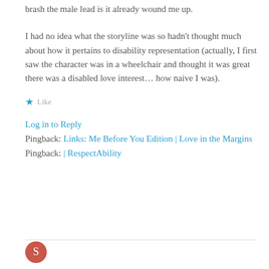brash the male lead is it already wound me up.
I had no idea what the storyline was so hadn't thought much about how it pertains to disability representation (actually, I first saw the character was in a wheelchair and thought it was great there was a disabled love interest… how naive I was).
★ Like
Log in to Reply
Pingback: Links: Me Before You Edition | Love in the Margins
Pingback: | RespectAbility